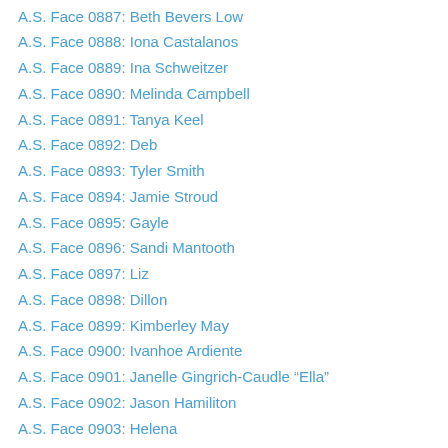A.S. Face 0887: Beth Bevers Low
A.S. Face 0888: Iona Castalanos
A.S. Face 0889: Ina Schweitzer
A.S. Face 0890: Melinda Campbell
A.S. Face 0891: Tanya Keel
A.S. Face 0892: Deb
A.S. Face 0893: Tyler Smith
A.S. Face 0894: Jamie Stroud
A.S. Face 0895: Gayle
A.S. Face 0896: Sandi Mantooth
A.S. Face 0897: Liz
A.S. Face 0898: Dillon
A.S. Face 0899: Kimberley May
A.S. Face 0900: Ivanhoe Ardiente
A.S. Face 0901: Janelle Gingrich-Caudle “Ella”
A.S. Face 0902: Jason Hamiliton
A.S. Face 0903: Helena
A.S. Face 0904: Lisa Crowner
A.S. Face 0905: Thomas Nolle
A.S. Face 0906: Debby